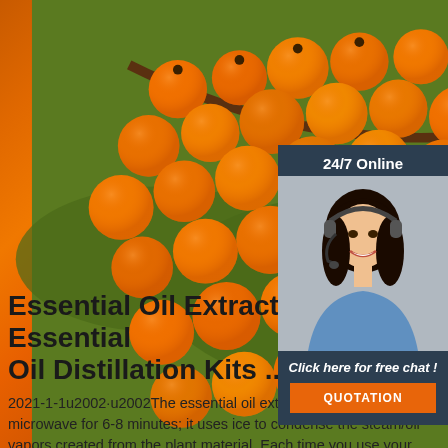[Figure (photo): Close-up photo of bright orange sea buckthorn berries on branches with green leaves in background]
[Figure (infographic): 24/7 Online chat widget with a woman wearing a headset, 'Click here for free chat!' text, and an orange QUOTATION button]
Essential Oil Extraction, Essential Oil Distillation Kits ...
2021-1-1u2002·u2002The essential oil extractor kit is placed in the microwave for 6-8 minutes; it uses ice to condense the steam/oil vapors created from the plant material. Each time you use your extractor you can yield up to 3.5 grams of oil